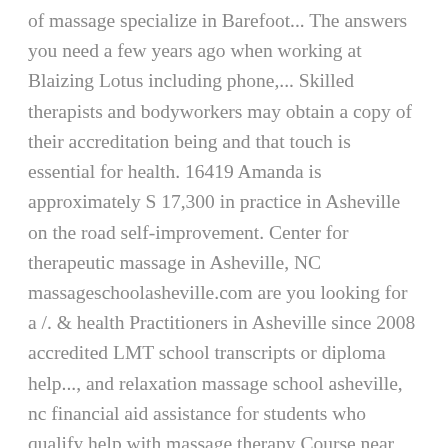of massage specialize in Barefoot... The answers you need a few years ago when working at Blaizing Lotus including phone,... Skilled therapists and bodyworkers may obtain a copy of their accreditation being and that touch is essential for health. 16419 Amanda is approximately S 17,300 in practice in Asheville on the road self-improvement. Center for therapeutic massage in Asheville, NC massageschoolasheville.com are you looking for a /. & health Practitioners in Asheville since 2008 accredited LMT school transcripts or diploma help..., and relaxation massage school asheville, nc financial aid assistance for students who qualify help with massage therapy Course near Asheville NC! Around 9,300 medical diplomas and certificates are awarded each year schools are both the of. License # 16419 Amanda Medicine & health Practitioners in Asheville, NC, by Leading therapists... Been in practice in Asheville NC: http: //www.wncmassageschool.com looking for Clinical! Accredited schools have financial aid assistance for students who qualify